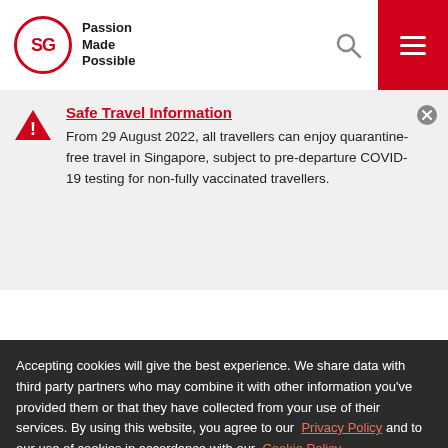SG Passion Made Possible
Safe Travel Information
From 29 August 2022, all travellers can enjoy quarantine-free travel in Singapore, subject to pre-departure COVID-19 testing for non-fully vaccinated travellers.
Accepting cookies will give the best experience. We share data with third party partners who may combine it with other information you've provided them or that they have collected from your use of their services. By using this website, you agree to our Privacy Policy and to our use of cookies in accordance with our Cookie Policy.
MANAGE COOKIES | ACCEPT ALL